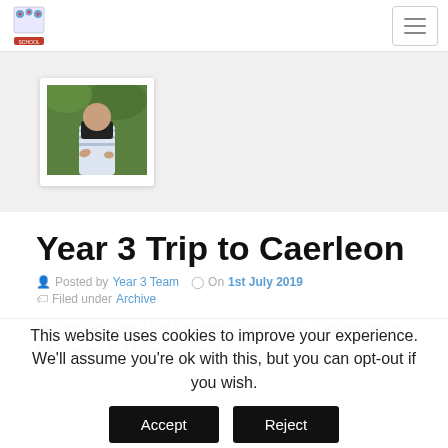School website navigation bar with logo and hamburger menu
[Figure (photo): Photo of a person outdoors, shown in a white card with shadow on a grey background]
Year 3 Trip to Caerleon
Posted by Year 3 Team  On 1st July 2019  Filed under Archive
On Thursday, Year 3 had a wonderful adventure in Caerleon, Wales. We took part in a Roman lesson dressing
This website uses cookies to improve your experience. We'll assume you're ok with this, but you can opt-out if you wish.